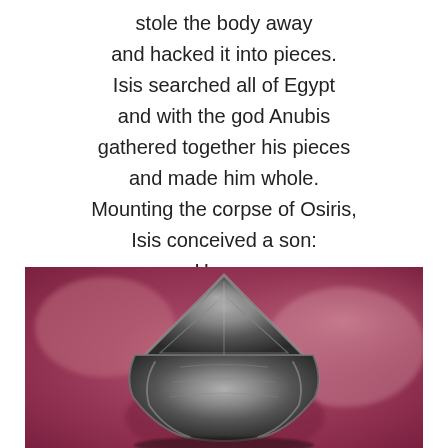stole the body away
and hacked it into pieces.
Isis searched all of Egypt
and with the god Anubis
gathered together his pieces
and made him whole.
Mounting the corpse of Osiris,
Isis conceived a son:
Horus.
[Figure (photo): Close-up photograph of a dark metallic Egyptian artifact resembling a crown or headdress with a triangular/pointed top, set against a blurred red/pink background.]